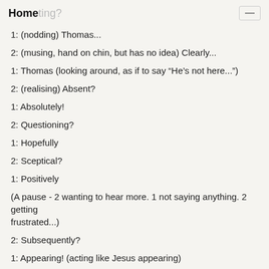Home
1: (nodding) Thomas...
2: (musing, hand on chin, but has no idea) Clearly...
1: Thomas (looking around, as if to say “He’s not here...”)
2: (realising) Absent?
1: Absolutely!
2: Questioning?
1: Hopefully
2: Sceptical?
1: Positively
(A pause - 2 wanting to hear more. 1 not saying anything. 2 getting frustrated...)
2: Subsequently?
1: Appearing! (acting like Jesus appearing)
2: Astounding! (reacting like disciples)